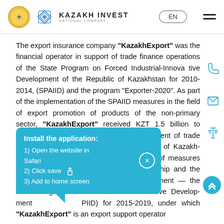KAZAKH INVEST NATIONAL COMPANY — EN
The export insurance company "KazakhExport" was the financial operator in support of trade finance operations of the State Program on Forced Industrial-Innovative Development of the Republic of Kazakhstan for 2010-2014, (SPAIID) and the program "Exporter-2020". As part of the implementation of the SPAIID measures in the field of export promotion of products of the non-primary sector, "KazakhExport" received KZT 1.5 billion to increase its share capital for the development of trade finance operations. Currently, the Republic of Kazakhstan is systematically implementing a set of measures aimed at entrepreneurship and the government's largest industrial development — the State Program for Industrial and Innovative Development (SPIID) for 2015-2019, under which "KazakhExport" is an export support operator
Install the application:
1) Open the website in Safari
2) Click save
3) Add to home screen